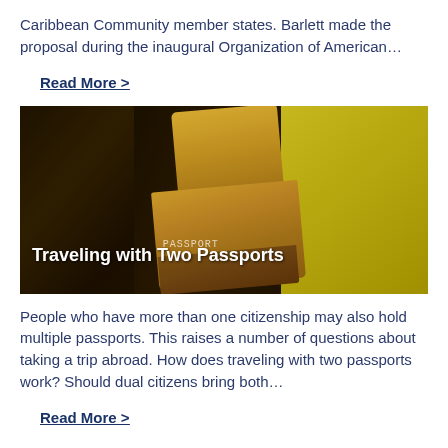Caribbean Community member states. Barlett made the proposal during the inaugural Organization of American…
Read More >
[Figure (photo): Photo of a wooden passport stamp being pressed onto a dark red passport, with a yellow background. Title overlay reads 'Traveling with Two Passports'.]
People who have more than one citizenship may also hold multiple passports. This raises a number of questions about taking a trip abroad. How does traveling with two passports work? Should dual citizens bring both…
Read More >